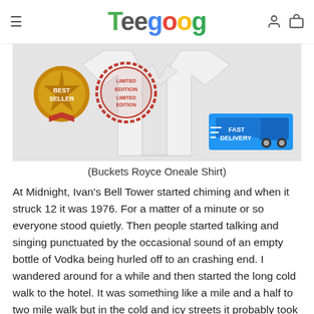Teegoog
[Figure (photo): Product image of a white shirt with Best Seller badge, Limited Edition stamp, and Fast Delivery truck icon]
(Buckets Royce Oneale Shirt)
At Midnight, Ivan's Bell Tower started chiming and when it struck 12 it was 1976. For a matter of a minute or so everyone stood quietly. Then people started talking and singing punctuated by the occasional sound of an empty bottle of Vodka being hurled off to an crashing end. I wandered around for a while and then started the long cold walk to the hotel. It was something like a mile and a half to two mile walk but in the cold and icy streets it probably took close to an hour. When I arrived at the hotel I found that they weren't kidding about locking the doors. I was locked out!